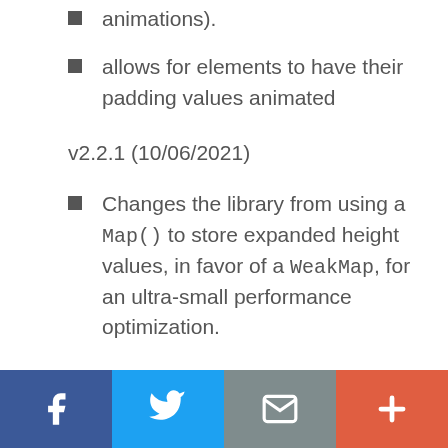animations).
allows for elements to have their padding values animated
v2.2.1 (10/06/2021)
Changes the library from using a Map() to store expanded height values, in favor of a WeakMap, for an ultra-small performance optimization.
v2.2.0 (07/14/2021)
Set aria-expanded value after animation.
[Figure (other): Social share footer bar with Facebook, Twitter, email, and plus buttons]